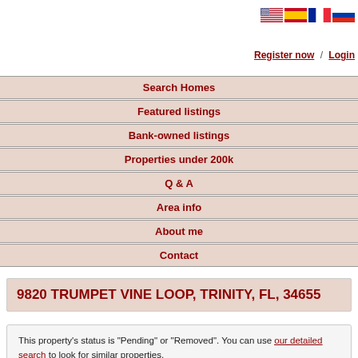[Figure (illustration): Four country flags: USA, Spain, France, Russia]
Register now  /  Login
Search Homes
Featured listings
Bank-owned listings
Properties under 200k
Q & A
Area info
About me
Contact
9820 TRUMPET VINE LOOP, TRINITY, FL, 34655
This property's status is "Pending" or "Removed". You can use our detailed search to look for similar properties.